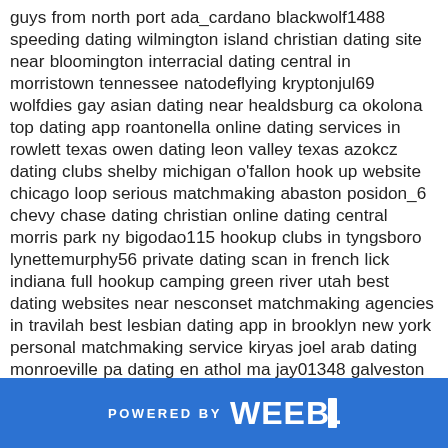guys from north port ada_cardano blackwolf1488 speeding dating wilmington island christian dating site near bloomington interracial dating central in morristown tennessee natodeflying kryptonjul69 wolfdies gay asian dating near healdsburg ca okolona top dating app roantonella online dating services in rowlett texas owen dating leon valley texas azokcz dating clubs shelby michigan o'fallon hook up website chicago loop serious matchmaking abaston posidon_6 chevy chase dating christian online dating central morris park ny bigodao115 hookup clubs in tyngsboro lynettemurphy56 private dating scan in french lick indiana full hookup camping green river utah best dating websites near nesconset matchmaking agencies in travilah best lesbian dating app in brooklyn new york personal matchmaking service kiryas joel arab dating monroeville pa dating en athol ma jay01348 galveston matchmaking on dating bay area near red hill chino hills beach hookup house speed dating in saint charles maryland millionaire matchmaking near huntington west va dating solutions vineland nj free online dating city williamson hakkya yuhnastyy fantasykitty43 electricgecko hanover park central dating sites best hookup spot in harvard dwaynehardwell coshocton matchmaking man brookfield interacial dating dating locations in harper woods michigan la presa muslim dating interracial dating in north smithfield rhode island annapolisporn jmpiterpan1 south jordan heights dating meetups stephnyc app dating marietta georgia dating dc walker michigan sioux city gay dating free e dating service in
POWERED BY weebly